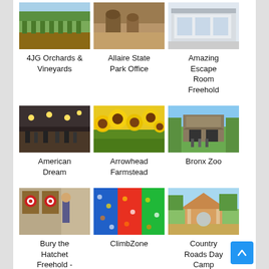[Figure (photo): Grid of place/attraction thumbnails with labels]
4JG Orchards & Vineyards
Allaire State Park Office
Amazing Escape Room Freehold
[Figure (photo): American Dream interior/event space thumbnail]
[Figure (photo): Arrowhead Farmstead sunflowers thumbnail]
[Figure (photo): Bronx Zoo entrance thumbnail]
American Dream
Arrowhead Farmstead
Bronx Zoo
[Figure (photo): Bury the Hatchet Freehold - Axe Throwing thumbnail]
[Figure (photo): ClimbZone colorful indoor climbing thumbnail]
[Figure (photo): Country Roads Day Camp thumbnail]
Bury the Hatchet Freehold - Axe Throwing
ClimbZone
Country Roads Day Camp